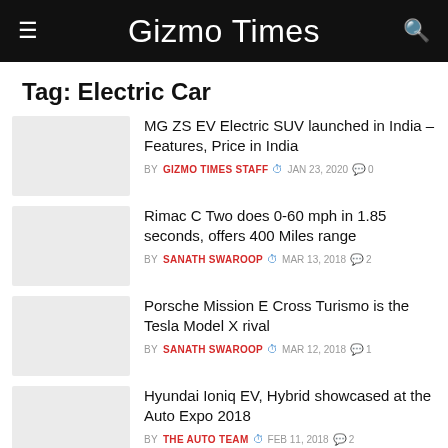Gizmo Times
Tag: Electric Car
MG ZS EV Electric SUV launched in India – Features, Price in India | BY GIZMO TIMES STAFF | JAN 23, 2020 | 0
Rimac C Two does 0-60 mph in 1.85 seconds, offers 400 Miles range | BY SANATH SWAROOP | MAR 13, 2018 | 2
Porsche Mission E Cross Turismo is the Tesla Model X rival | BY SANATH SWAROOP | MAR 12, 2018 | 1
Hyundai Ioniq EV, Hybrid showcased at the Auto Expo 2018 | BY THE AUTO TEAM | FEB 11, 2018 | 2